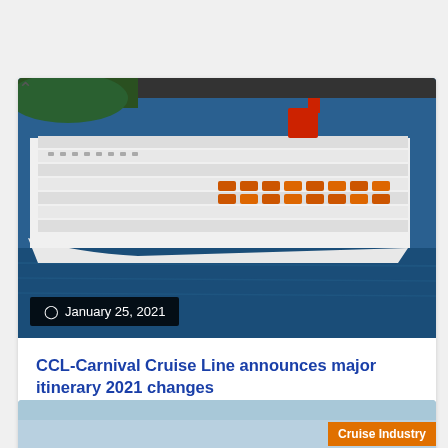[Figure (photo): Cruise ship photograph showing a large white multi-deck cruise vessel with orange lifeboats, sailing on blue water. Date badge reads January 25, 2021.]
CCL-Carnival Cruise Line announces major itinerary 2021 changes
CCL-Carnival Cruise Line released plans for additional cruise ship deployments as the company continues to refine its phased-in approach to a return...
[Figure (photo): Partial view of second article card with Cruise Industry badge visible at bottom right.]